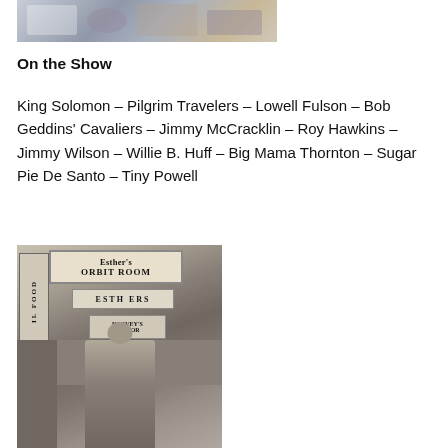[Figure (photo): Partial photo showing collage of papers and figures, cropped at top of page]
On the Show
King Solomon – Pilgrim Travelers – Lowell Fulson – Bob Geddins' Cavaliers – Jimmy McCracklin – Roy Hawkins – Jimmy Wilson – Willie B. Huff – Big Mama Thornton – Sugar Pie De Santo – Tiny Powell
[Figure (photo): Black and white photo of a person standing in front of Esther's Orbit Room sign, with additional signs for Esther's and Harvey's Liquor visible]